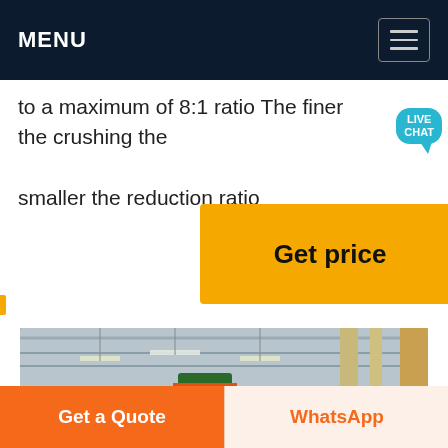MENU
to a maximum of 8:1 ratio The finer the crushing the smaller the reduction ratio
[Figure (screenshot): Yellow 'Get price' button overlay on web page]
[Figure (photo): Industrial grinding mill machine inside a large factory/warehouse with flags hanging in the background]
Get a Quote  |  WhatsApp